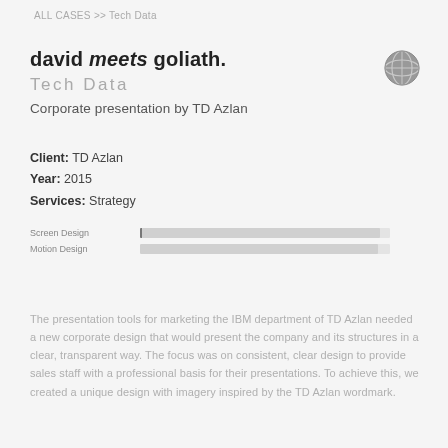ALL CASES >> Tech Data
david meets goliath.
Tech Data
Corporate presentation by TD Azlan
[Figure (illustration): Globe icon in dark grey with latitude/longitude lines]
Client: TD Azlan
Year: 2015
Services: Strategy
|  |  |
| --- | --- |
| Screen Design | bar ~95% |
| Motion Design | bar ~95% |
The presentation tools for marketing the IBM department of TD Azlan needed a new corporate design that would present the company and its structures in a clear, transparent way. The focus was on consistent, clear design to provide sales staff with a professional basis for their presentations. To achieve this, we created a unique design with imagery inspired by the TD Azlan wordmark.